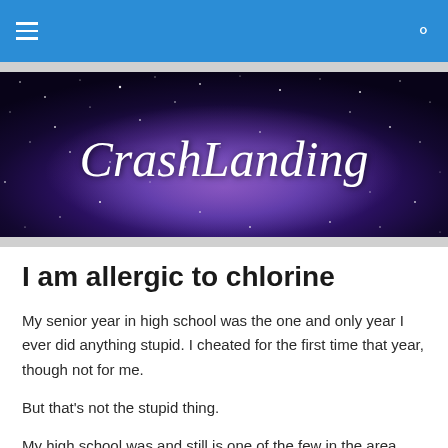CrashLanding — navigation bar with hamburger menu and search icon
[Figure (illustration): Blog banner image showing a starry night sky / galaxy background in deep blue and purple tones with the cursive text 'CrashLanding' in white overlaid in the center.]
I am allergic to chlorine
My senior year in high school was the one and only year I ever did anything stupid. I cheated for the first time that year, though not for me.
But that's not the stupid thing.
My high school was and still is one of the few in the area